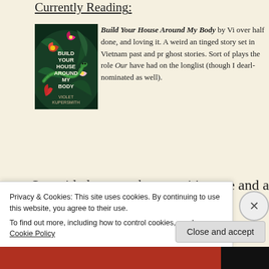Currently Reading:
[Figure (photo): Book cover of 'Build Your House Around My Body' by Violet Kupersmith — dark green background with tropical plants, flowers, and a snake]
Build Your House Around My Body by Vi... over half done, and loving it. A weird an... tinged story set in Vietnam past and pr... ghost stories. Sort of plays the role Our... have had on the longlist (though I dearl... nominated as well).
Set aside last year because it's twee and anno...
Privacy & Cookies: This site uses cookies. By continuing to use this website, you agree to their use.
To find out more, including how to control cookies, see here: Cookie Policy
Close and accept